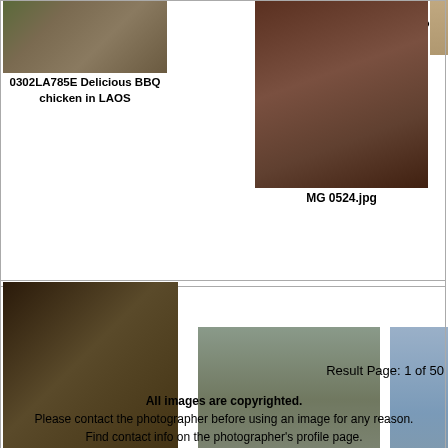[Figure (photo): BBQ chicken photo in Laos]
0302LA785E Delicious BBQ chicken in LAOS
[Figure (photo): Partial image of Wat Xieng Tho]
Wat Xieng Tho
[Figure (photo): MG 0524.jpg - person in traditional clothing]
MG 0524.jpg
[Figure (photo): Nang Kham cooking in her home in Ban Sop Doud Laos]
Nang Kham Cooking in her home in Ban Sop Doud Laos
[Figure (photo): Mekong Delta river scene with boats]
Mekong Delta read text
[Figure (photo): Mekong River between Pakxe and Ch... Laos - partial image]
Mekong River Pakxe and Ch Laos 0
Result Page: 1 of 50
All images are copyrighted.
Please contact the photographer before using an image for any reason.
Find contact info on the photographer's profile page.